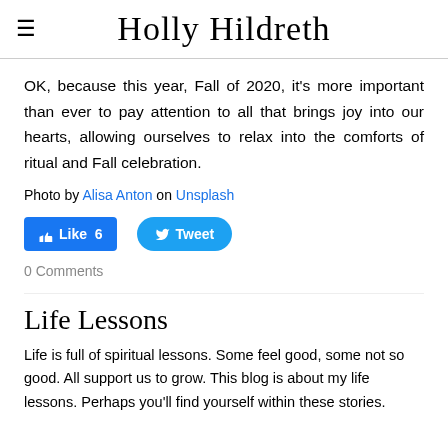Holly Hildreth
OK, because this year, Fall of 2020, it's more important than ever to pay attention to all that brings joy into our hearts, allowing ourselves to relax into the comforts of ritual and Fall celebration.
Photo by Alisa Anton on Unsplash
[Figure (other): Social media buttons: Facebook Like (6) and Twitter Tweet]
0 Comments
Life Lessons
Life is full of spiritual lessons. Some feel good, some not so good. All support us to grow. This blog is about my life lessons. Perhaps you'll find yourself within these stories.